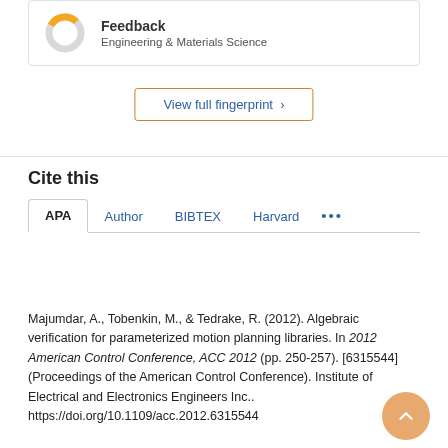[Figure (donut-chart): Donut chart showing partial fill (roughly 30%) in orange/yellow on a gray background, representing a percentage for 'Feedback' in Engineering & Materials Science]
Feedback
Engineering & Materials Science
View full fingerprint >
Cite this
APA  Author  BIBTEX  Harvard  ...
Majumdar, A., Tobenkin, M., & Tedrake, R. (2012). Algebraic verification for parameterized motion planning libraries. In 2012 American Control Conference, ACC 2012 (pp. 250-257). [6315544] (Proceedings of the American Control Conference). Institute of Electrical and Electronics Engineers Inc.. https://doi.org/10.1109/acc.2012.6315544